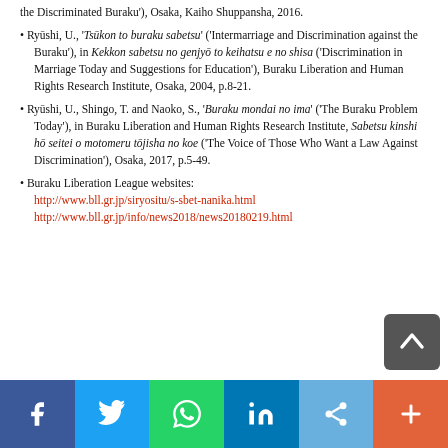the Discriminated Buraku'), Osaka, Kaiho Shuppansha, 2016.
Ryūshi, U., 'Tsūkon to buraku sabetsu' ('Intermarriage and Discrimination against the Buraku'), in Kekkon sabetsu no genjyō to keihatsu e no shisa ('Discrimination in Marriage Today and Suggestions for Education'), Buraku Liberation and Human Rights Research Institute, Osaka, 2004, p.8-21.
Ryūshi, U., Shingo, T. and Naoko, S., 'Buraku mondai no ima' ('The Buraku Problem Today'), in Buraku Liberation and Human Rights Research Institute, Sabetsu kinshi hō seitei o motomeru tōjisha no koe ('The Voice of Those Who Want a Law Against Discrimination'), Osaka, 2017, p.5-49.
Buraku Liberation League websites: http://www.bll.gr.jp/siryositu/s-sbet-nanika.html http://www.bll.gr.jp/info/news2018/news20180219.html